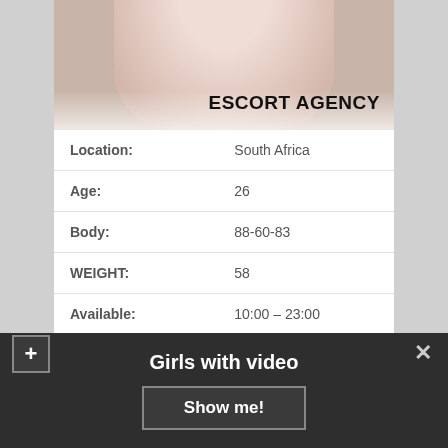[Figure (photo): Escort agency photo with white bedding and legs visible, overlaid with bold text ESCORT AGENCY]
| Location: | South Africa |
| Age: | 26 |
| Body: | 88-60-83 |
| WEIGHT: | 58 |
| Available: | 10:00 – 23:00 |
| Anal: | +60$ |
| Escort Preferences: | Massage Thai, Facials, Lapdancing |
Girls with video
Show me!